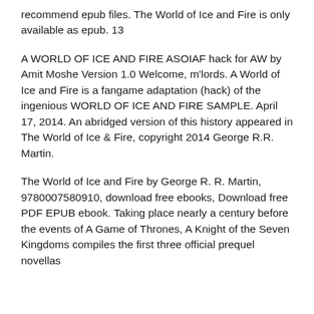recommend epub files. The World of Ice and Fire is only available as epub. 13
A WORLD OF ICE AND FIRE ASOIAF hack for AW by Amit Moshe Version 1.0 Welcome, m'lords. A World of Ice and Fire is a fangame adaptation (hack) of the ingenious WORLD OF ICE AND FIRE SAMPLE. April 17, 2014. An abridged version of this history appeared in The World of Ice & Fire, copyright 2014 George R.R. Martin.
The World of Ice and Fire by George R. R. Martin, 9780007580910, download free ebooks, Download free PDF EPUB ebook. Taking place nearly a century before the events of A Game of Thrones, A Knight of the Seven Kingdoms compiles the first three official prequel novellas